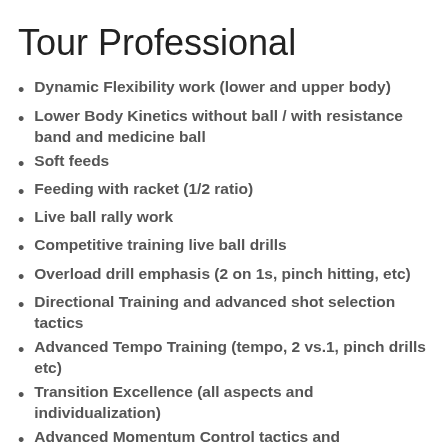Tour Professional
Dynamic Flexibility work (lower and upper body)
Lower Body Kinetics without ball / with resistance band and medicine ball
Soft feeds
Feeding with racket (1/2 ratio)
Live ball rally work
Competitive training live ball drills
Overload drill emphasis (2 on 1s, pinch hitting, etc)
Directional Training and advanced shot selection tactics
Advanced Tempo Training (tempo, 2 vs.1, pinch drills etc)
Transition Excellence (all aspects and individualization)
Advanced Momentum Control tactics and